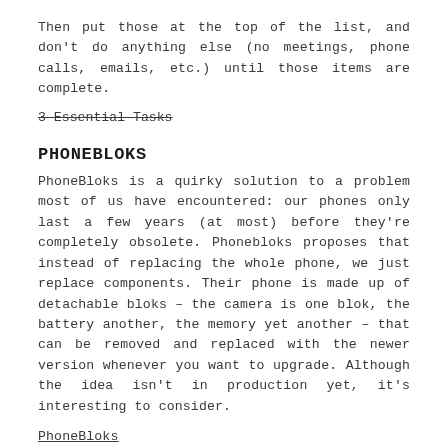Then put those at the top of the list, and don't do anything else (no meetings, phone calls, emails, etc.) until those items are complete.
3 Essential Tasks
PHONEBLOKS
PhoneBloks is a quirky solution to a problem most of us have encountered: our phones only last a few years (at most) before they're completely obsolete. Phonebloks proposes that instead of replacing the whole phone, we just replace components. Their phone is made up of detachable bloks – the camera is one blok, the battery another, the memory yet another – that can be removed and replaced with the newer version whenever you want to upgrade. Although the idea isn't in production yet, it's interesting to consider.
PhoneBloks